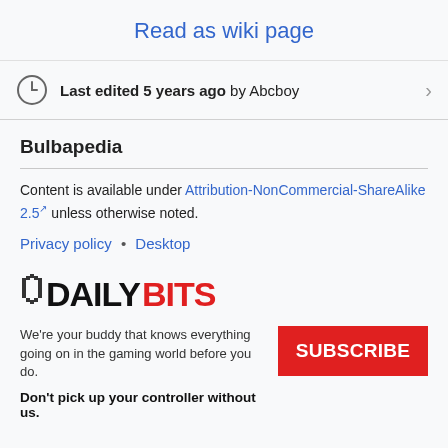Read as wiki page
Last edited 5 years ago by Abcboy
Bulbapedia
Content is available under Attribution-NonCommercial-ShareAlike 2.5 unless otherwise noted.
Privacy policy • Desktop
[Figure (logo): DailyBits logo — pixel art style D icon followed by DAILY in black bold and BITS in red bold]
We're your buddy that knows everything going on in the gaming world before you do.
Don't pick up your controller without us.